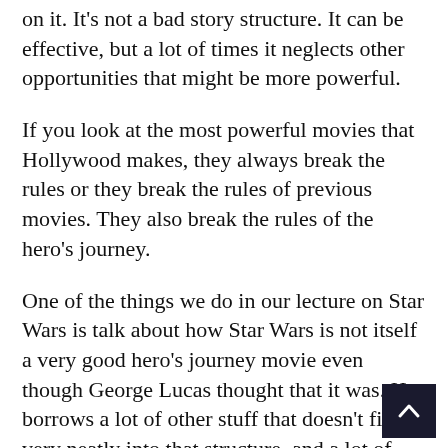on it. It's not a bad story structure. It can be effective, but a lot of times it neglects other opportunities that might be more powerful.
If you look at the most powerful movies that Hollywood makes, they always break the rules or they break the rules of previous movies. They also break the rules of the hero's journey.
One of the things we do in our lecture on Star Wars is talk about how Star Wars is not itself a very good hero's journey movie even though George Lucas thought that it was. He borrows a lot of other stuff that doesn't fit very neatly into that structure, and a lot of that other stuff is the stuff that works.